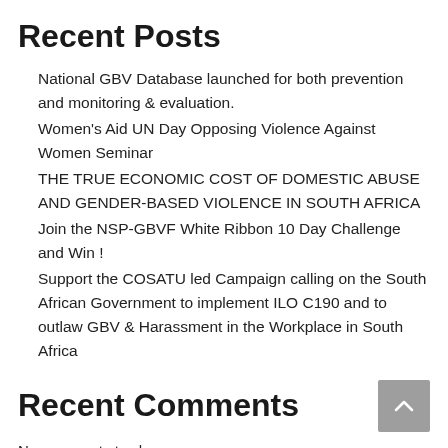Recent Posts
National GBV Database launched for both prevention and monitoring & evaluation.
Women's Aid UN Day Opposing Violence Against Women Seminar
THE TRUE ECONOMIC COST OF DOMESTIC ABUSE AND GENDER-BASED VIOLENCE IN SOUTH AFRICA
Join the NSP-GBVF White Ribbon 10 Day Challenge and Win !
Support the COSATU led Campaign calling on the South African Government to implement ILO C190 and to outlaw GBV & Harassment in the Workplace in South Africa
Recent Comments
No comments to show.